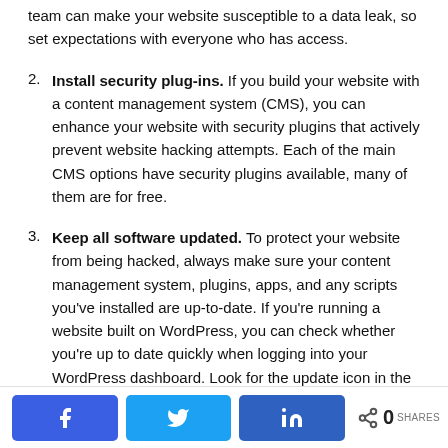team can make your website susceptible to a data leak, so set expectations with everyone who has access.
2. Install security plug-ins. If you build your website with a content management system (CMS), you can enhance your website with security plugins that actively prevent website hacking attempts. Each of the main CMS options have security plugins available, many of them are for free.
3. Keep all software updated. To protect your website from being hacked, always make sure your content management system, plugins, apps, and any scripts you've installed are up-to-date. If you're running a website built on WordPress, you can check whether you're up to date quickly when logging into your WordPress dashboard. Look for the update icon in the top left corner next to your site name. Click the number